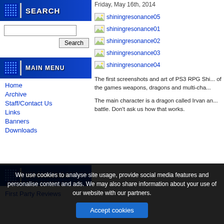Friday, May 16th, 2014
[Figure (other): SEARCH banner with dot grid icon]
[Figure (other): Search input box and Search button]
[Figure (other): MAIN MENU banner with dot grid icon]
Home
Archive
Staff/Contact Us
Links
Banners
Downloads
[Figure (other): shiningresonance05 image placeholder]
[Figure (other): shiningresonance01 image placeholder]
[Figure (other): shiningresonance02 image placeholder]
[Figure (other): shiningresonance03 image placeholder]
[Figure (other): shiningresonance04 image placeholder]
[Figure (other): INFORMATION banner with dot grid icon]
First Party Reviews
The first screenshots and art of PS3 RPG Shi... of the games weapons, dragons and multi-cha...
The main character is a dragon called Irvan an... battle. Don't ask us how that works.
We use cookies to analyse site usage, provide social media features and personalise content and ads. We may also share information about your use of our website with our partners.